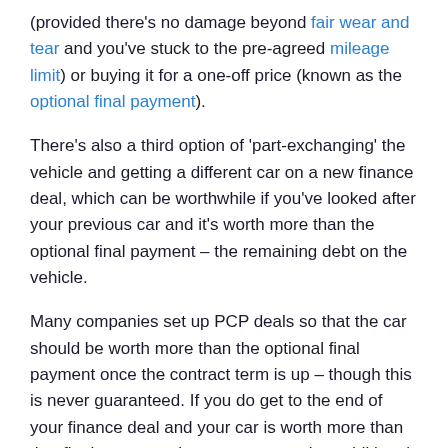(provided there's no damage beyond fair wear and tear and you've stuck to the pre-agreed mileage limit) or buying it for a one-off price (known as the optional final payment).
There's also a third option of 'part-exchanging' the vehicle and getting a different car on a new finance deal, which can be worthwhile if you've looked after your previous car and it's worth more than the optional final payment – the remaining debt on the vehicle.
Many companies set up PCP deals so that the car should be worth more than the optional final payment once the contract term is up – though this is never guaranteed. If you do get to the end of your finance deal and your car is worth more than that final payment, then you can put that additional value towards the deposit on a new car – this is known as